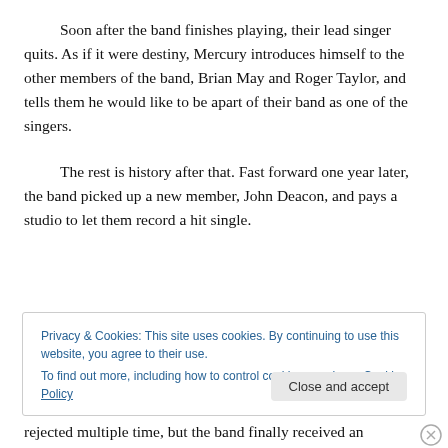Soon after the band finishes playing, their lead singer quits. As if it were destiny, Mercury introduces himself to the other members of the band, Brian May and Roger Taylor, and tells them he would like to be apart of their band as one of the singers.
The rest is history after that. Fast forward one year later, the band picked up a new member, John Deacon, and pays a studio to let them record a hit single.
Privacy & Cookies: This site uses cookies. By continuing to use this website, you agree to their use.
To find out more, including how to control cookies, see here: Cookie Policy
Close and accept
rejected multiple time, but the band finally received an